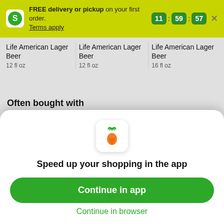FREE delivery or pickup on your first order. Terms apply. 11:59:57
Life American Lager Beer
12 fl oz
Life American Lager Beer
12 fl oz
Life American Lager Beer
16 fl oz
Often bought with
[Figure (screenshot): Often bought with product images: wine bottles and a box]
[Figure (logo): Instacart carrot logo icon]
Speed up your shopping in the app
Continue in app
Continue in browser